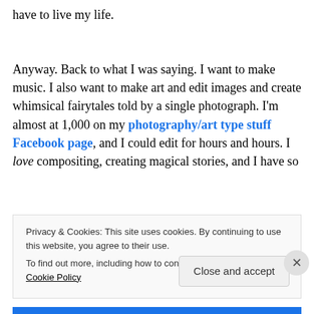have to live my life.

Anyway. Back to what I was saying. I want to make music. I also want to make art and edit images and create whimsical fairytales told by a single photograph. I'm almost at 1,000 on my photography/art type stuff Facebook page, and I could edit for hours and hours. I love compositing, creating magical stories, and I have so
Privacy & Cookies: This site uses cookies. By continuing to use this website, you agree to their use.
To find out more, including how to control cookies, see here: Cookie Policy